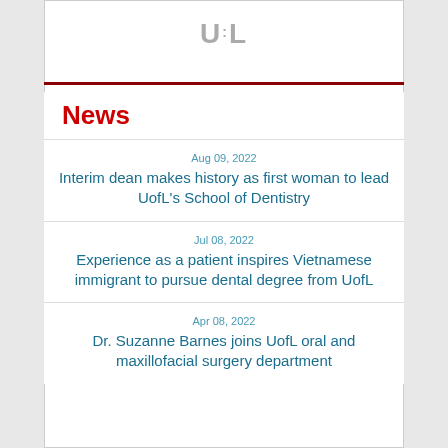[Figure (logo): University of Louisville UofL logo in gray]
News
Aug 09, 2022
Interim dean makes history as first woman to lead UofL's School of Dentistry
Jul 08, 2022
Experience as a patient inspires Vietnamese immigrant to pursue dental degree from UofL
Apr 08, 2022
Dr. Suzanne Barnes joins UofL oral and maxillofacial surgery department